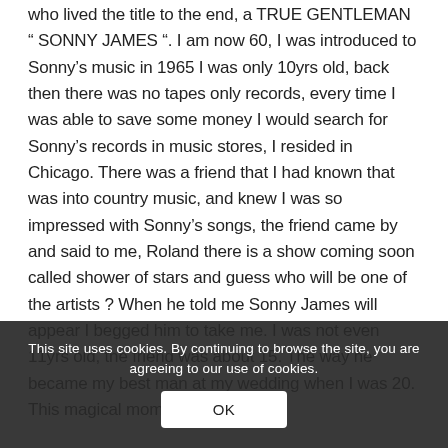who lived the title to the end, a TRUE GENTLEMAN " SONNY JAMES ". I am now 60, I was introduced to Sonny's music in 1965 I was only 10yrs old, back then there was no tapes only records, every time I was able to save some money I would search for Sonny's records in music stores, I resided in Chicago. There was a friend that I had known that was into country music, and knew I was so impressed with Sonny's songs, the friend came by and said to me, Roland there is a show coming soon called shower of stars and guess who will be one of the artists ? When he told me Sonny James will appear I begged him to take me. I was not even 11yrs old, the friend was about 15. The way he became my best man at my wedding when I was 20. This magical moment
This site uses cookies. By continuing to browse the site, you are agreeing to our use of cookies.